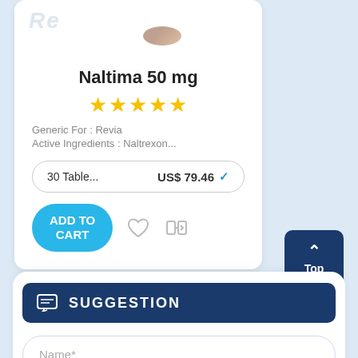[Figure (screenshot): Product card showing Naltima 50 mg medication with pill image and Revia watermark]
Naltima 50 mg
[Figure (other): 5 gold stars rating]
Generic For : Revia
Active Ingredients : Naltrexon...
30 Table...   US$ 79.46
ADD TO CART
SUGGESTION
Name*